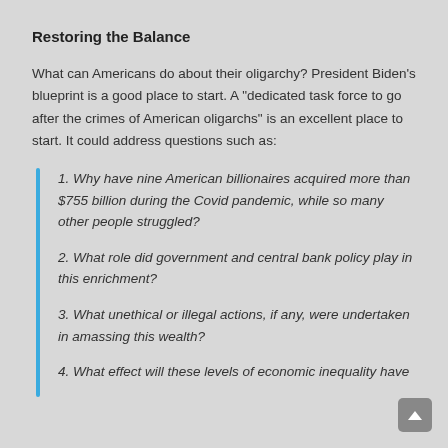Restoring the Balance
What can Americans do about their oligarchy? President Biden's blueprint is a good place to start. A "dedicated task force to go after the crimes of American oligarchs" is an excellent place to start. It could address questions such as:
1. Why have nine American billionaires acquired more than $755 billion during the Covid pandemic, while so many other people struggled?
2. What role did government and central bank policy play in this enrichment?
3. What unethical or illegal actions, if any, were undertaken in amassing this wealth?
4. What effect will these levels of economic inequality have